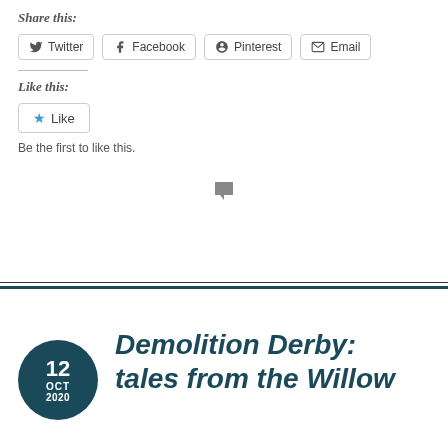Share this:
Twitter Facebook Pinterest Email
Like this:
Like
Be the first to like this.
Demolition Derby: tales from the Willow
12 OCT 2020